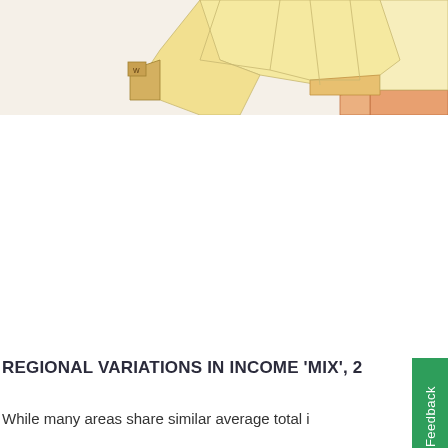[Figure (map): Partial view of a choropleth map showing regional geographic areas colored in shades of yellow, orange, and peach/salmon, representing income mix variations. Countries/regions are outlined with thin borders. Lower left portion shows a small inset or label area.]
REGIONAL VARIATIONS IN INCOME 'MIX', 2
While many areas share similar average total i